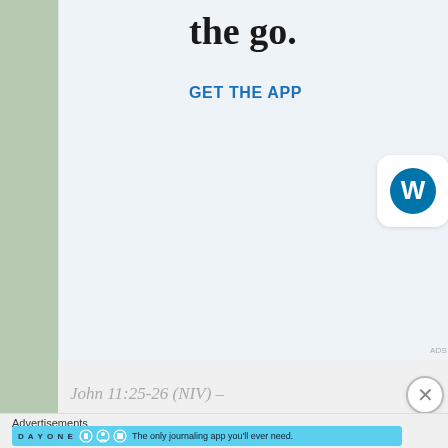[Figure (screenshot): Wordpress app advertisement banner with large serif text 'the go.' and a 'GET THE APP' button link, plus WordPress 'WP' logo icon button on the right]
John 11:25-26 (NIV) –
“Jesus said to her, ‘I am the resurrection and the life. Th… me will live, even though they die; and whoever lives b… never die. Do you believe this?’”
Advertisements
[Figure (screenshot): Day One journaling app advertisement banner: 'The only journaling app you’ll ever need.' with cartoon icons on a light blue background]